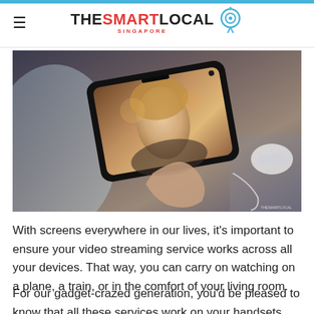THE SMART LOCAL SINGAPORE
[Figure (photo): Person holding a smartphone horizontally displaying a woman on the screen, with earphones plugged in and a game controller visible in the background.]
With screens everywhere in our lives, it's important to ensure your video streaming service works across all your devices. That way, you can carry on watching on a plane, a train, or in the comfort of your living room.
For our gadget-crazed generation, you'd be pleased to know that all these services work on your handsets, tablets and